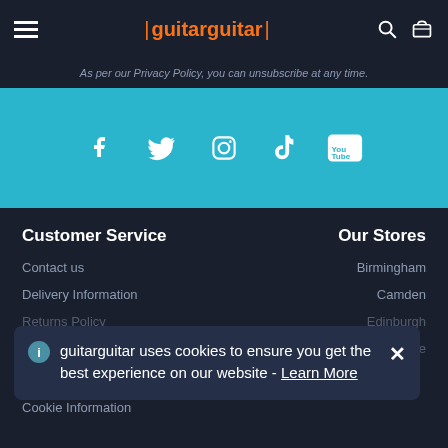guitarguitar
As per our Privacy Policy, you can unsubscribe at any time.
[Figure (other): Social media icons row: Facebook, Twitter, Instagram, TikTok, YouTube on cyan background]
Customer Service
Our Stores
Contact us
Birmingham
Delivery Information
Camden
Returns Policy
Edinburgh
Finance FAQs
Newcastle
Cookie Information
guitarguitar uses cookies to ensure you get the best experience on our website - Learn More